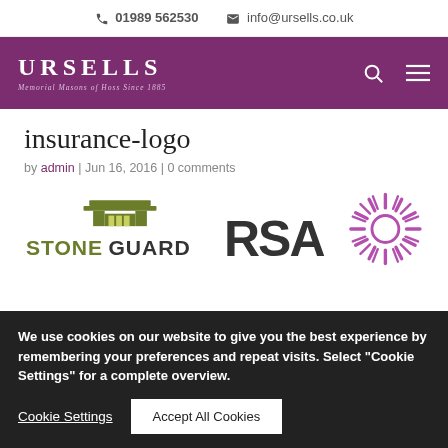📞 01989 562530  ✉ info@ursells.co.uk
[Figure (logo): Ursells Memorial Masons purple header with logo, search icon, and hamburger menu]
insurance-logo
by admin | Jun 16, 2016 | 0 comments
[Figure (logo): Stoneguard insurance logo (olive/green text with building icon) and partial RSA logo with purple starburst circle]
We use cookies on our website to give you the best experience by remembering your preferences and repeat visits. Select "Cookie Settings" for a complete overview.
Cookie Settings  Accept All Cookies